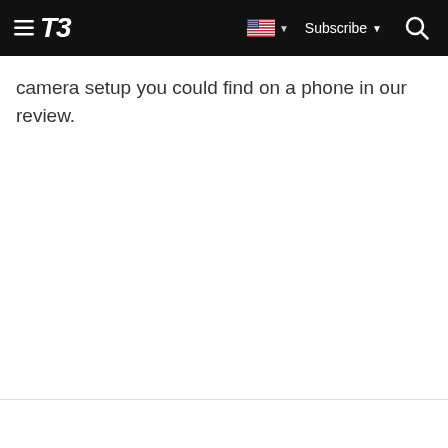T3 | Subscribe
camera setup you could find on a phone in our review.